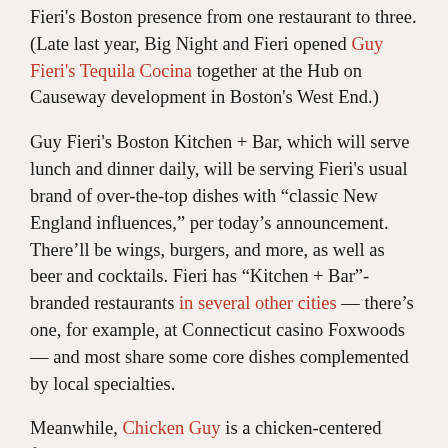Fieri's Boston presence from one restaurant to three. (Late last year, Big Night and Fieri opened Guy Fieri's Tequila Cocina together at the Hub on Causeway development in Boston's West End.)
Guy Fieri's Boston Kitchen + Bar, which will serve lunch and dinner daily, will be serving Fieri's usual brand of over-the-top dishes with "classic New England influences," per today's announcement. There'll be wings, burgers, and more, as well as beer and cocktails. Fieri has "Kitchen + Bar"-branded restaurants in several other cities — there's one, for example, at Connecticut casino Foxwoods — and most share some core dishes complemented by local specialties.
Meanwhile, Chicken Guy is a chicken-centered fast-casual option; the seven existing locations are in malls and stadiums. Chicken Guy features chicken tenders brined in lemon, pickle, and buttermilk, served with a variety of